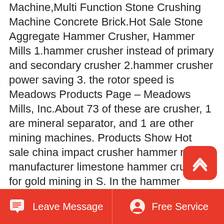Machine,Multi Function Stone Crushing Machine Concrete Brick.Hot Sale Stone Aggregate Hammer Crusher, Hammer Mills 1.hammer crusher instead of primary and secondary crusher 2.hammer crusher power saving 3. the rotor speed is Meadows Products Page – Meadows Mills, Inc.About 73 of these are crusher, 1 are mineral separator, and 1 are other mining machines. Products Show Hot sale china impact crusher hammer mill manufacturer limestone hammer crusher for gold mining in S. In the hammer crusher mill machine,the motor drives the rotor to rotate at a high speed through the belt,and on the rotor there are.China New Gold Ore Grinding Mining Equipment Aggregate Breaking Station Diesel Engine Glass Bottle Stone Hammer Crusher Mill Price, Find details about China
[Figure (other): Red rounded square scroll-to-top button with white upward chevron icon]
Leave Message   Free Service